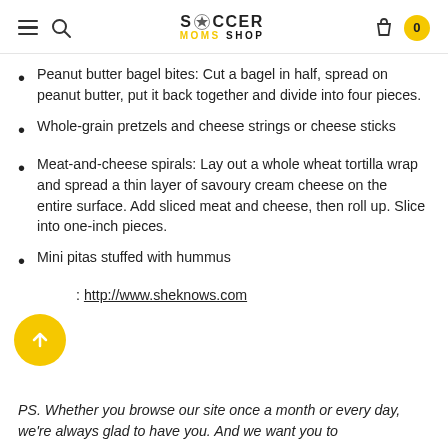Soccer Moms Shop — navigation header with hamburger menu, search, logo, bag icon and cart count 0
Peanut butter bagel bites: Cut a bagel in half, spread on peanut butter, put it back together and divide into four pieces.
Whole-grain pretzels and cheese strings or cheese sticks
Meat-and-cheese spirals: Lay out a whole wheat tortilla wrap and spread a thin layer of savoury cream cheese on the entire surface. Add sliced meat and cheese, then roll up. Slice into one-inch pieces.
Mini pitas stuffed with hummus
Source: http://www.sheknows.com
PS. Whether you browse our site once a month or every day, we're always glad to have you. And we want you to